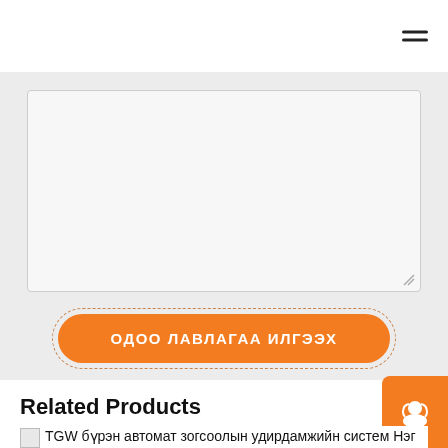[Figure (other): Textarea form input with resize handle, grey background, on a light grey page section]
ОДОО ЛАВЛАГАА ИЛГЭЭХ
Related Products
[Figure (other): Orange rounded square button with white person/headset icon]
TGW бүрэн автомат зогсоолын удирдамжийн систем Нэг цэгийн ухаалаг зогсоолын шийдэл
TGW Бүрэн Автомат Зогсоолын Удирдамжийн Систем Нэг